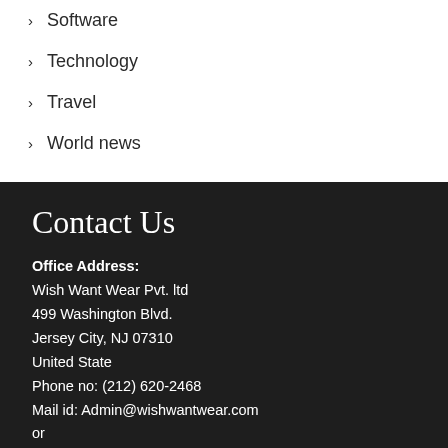Software
Technology
Travel
World news
Contact Us
Office Address:
Wish Want Wear Pvt. ltd
499 Washington Blvd.
Jersey City, NJ 07310
United State
Phone no: (212) 620-2468
Mail id: Admin@wishwantwear.com
or
Krishnakantchauhan19@gmail.com